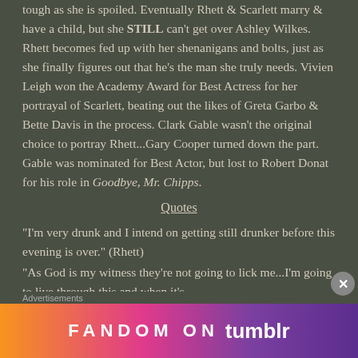tough as she is spoiled. Eventually Rhett & Scarlett marry & have a child, but she STILL can't get over Ashley Wilkes. Rhett becomes fed up with her shenanigans and bolts, just as she finally figures out that he's the man she truly needs. Vivien Leigh won the Academy Award for Best Actress for her portrayal of Scarlett, beating out the likes of Greta Garbo & Bette Davis in the process. Clark Gable wasn't the original choice to portray Rhett...Gary Cooper turned down the part. Gable was nominated for Best Actor, but lost to Robert Donat for his role in Goodbye, Mr. Chipps.
Quotes
“I’m very drunk and I intend on getting still drunker before this evening is over.” (Rhett)
“As God is my witness they’re not going to lick me...I’m going to live through this and when it’s
Advertisements
[Figure (other): FANDOM ON tumblr advertisement banner with colorful gradient background]